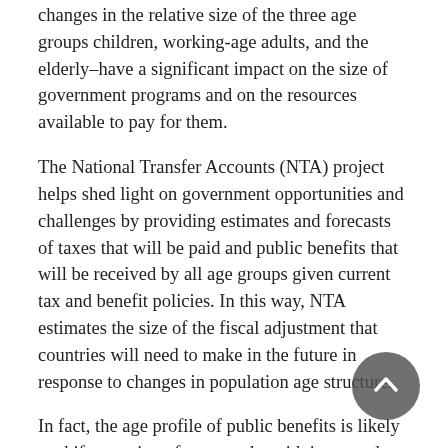changes in the relative size of the three age groups children, working-age adults, and the elderly–have a significant impact on the size of government programs and on the resources available to pay for them.
The National Transfer Accounts (NTA) project helps shed light on government opportunities and challenges by providing estimates and forecasts of taxes that will be paid and public benefits that will be received by all age groups given current tax and benefit policies. In this way, NTA estimates the size of the fiscal adjustment that countries will need to make in the future in response to changes in population age structure.
In fact, the age profile of public benefits is likely to shift over time–for example, with increased investment in education for children and increased investment in healthcare for the elderly. Pension reforms may also shift some of the burden of population aging away from public programs toward family resources and the use of saving and investment income. NTA data can be combined with